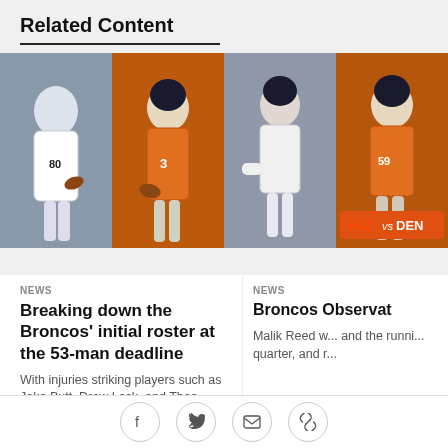Related Content
[Figure (photo): Three Denver Broncos football players action photos side by side: player #80 in white running with ball, quarterback #3 in orange jersey, and a running back in white uniform]
[Figure (photo): Denver Broncos player #59 in orange jersey in action, with #AZvsDEN graphic overlay at bottom]
NEWS
Breaking down the Broncos' initial roster at the 53-man deadline
With injuries striking players such as Jake Butt, Drew Lock, and Theo Riddick in recent
NEWS
Broncos Observations
Malik Reed w... and the runni... quarter, and r...